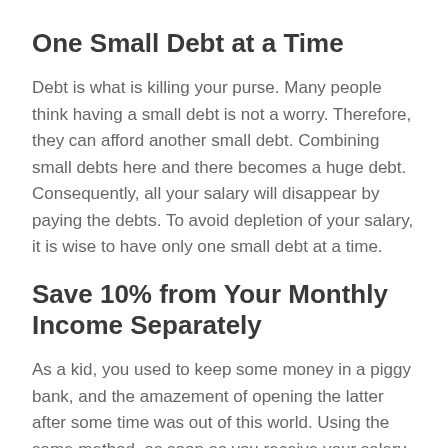One Small Debt at a Time
Debt is what is killing your purse. Many people think having a small debt is not a worry. Therefore, they can afford another small debt. Combining small debts here and there becomes a huge debt. Consequently, all your salary will disappear by paying the debts. To avoid depletion of your salary, it is wise to have only one small debt at a time.
Save 10% from Your Monthly Income Separately
As a kid, you used to keep some money in a piggy bank, and the amazement of opening the latter after some time was out of this world. Using the same method, as soon as you receive your salary take out ten per cent of it and same it somewhere else. You can transfer it to a different account or simply make yourself a piggy bank.